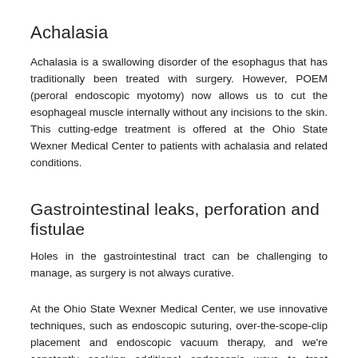Achalasia
Achalasia is a swallowing disorder of the esophagus that has traditionally been treated with surgery. However, POEM (peroral endoscopic myotomy) now allows us to cut the esophageal muscle internally without any incisions to the skin. This cutting-edge treatment is offered at the Ohio State Wexner Medical Center to patients with achalasia and related conditions.
Gastrointestinal leaks, perforation and fistulae
Holes in the gastrointestinal tract can be challenging to manage, as surgery is not always curative.
At the Ohio State Wexner Medical Center, we use innovative techniques, such as endoscopic suturing, over-the-scope-clip placement and endoscopic vacuum therapy, and we're constantly seeking additional endoscopic ways to treat defects that improve patient outcomes.